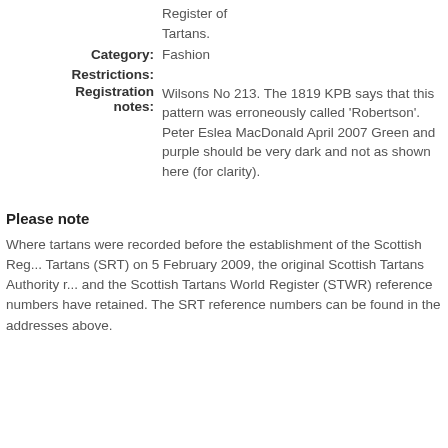Register of Tartans.
Category: Fashion
Restrictions:
Registration notes: Wilsons No 213. The 1819 KPB says that this pattern was erroneously called 'Robertson'. Peter Eslea MacDonald April 2007 Green and purple should be very dark and not as shown here (for clarity).
Please note
Where tartans were recorded before the establishment of the Scottish Register of Tartans (SRT) on 5 February 2009, the original Scottish Tartans Authority reference and the Scottish Tartans World Register (STWR) reference numbers have been retained. These SRT reference numbers can be found in the addresses above.